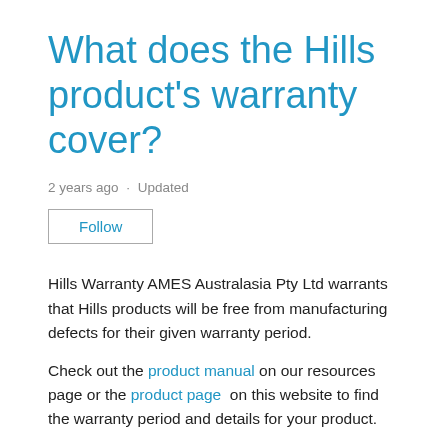What does the Hills product's warranty cover?
2 years ago · Updated
Follow
Hills Warranty AMES Australasia Pty Ltd warrants that Hills products will be free from manufacturing defects for their given warranty period.
Check out the product manual on our resources page or the product page on this website to find the warranty period and details for your product.
Your Hills warranty does cover: